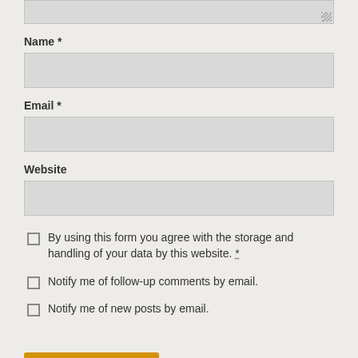[Figure (other): Partial textarea input field at top of page (cropped)]
Name *
[Figure (other): Text input field for Name]
Email *
[Figure (other): Text input field for Email]
Website
[Figure (other): Text input field for Website]
By using this form you agree with the storage and handling of your data by this website. *
Notify me of follow-up comments by email.
Notify me of new posts by email.
Post Comment